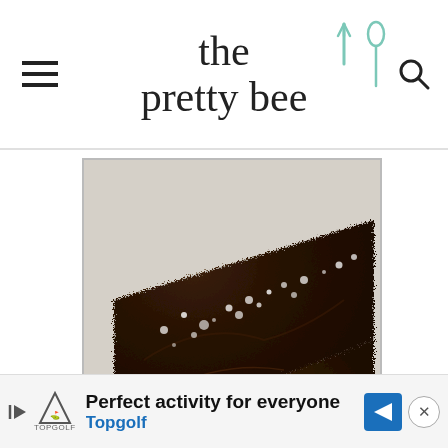the pretty bee
[Figure (photo): Close-up photo of a chocolate brownie dusted with powdered sugar, resting on a white plate]
[Figure (other): Advertisement banner for Topgolf: 'Perfect activity for everyone' with Topgolf logo, play button, blue arrow icon, and close button]